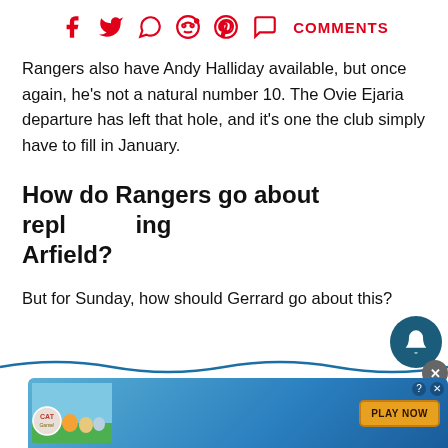[Figure (infographic): Social sharing icons row: Facebook, Twitter, WhatsApp, Reddit, Pinterest, Comments (speech bubble icon) with COMMENTS label in red]
Rangers also have Andy Halliday available, but once again, he's not a natural number 10. The Ovie Ejaria departure has left that hole, and it's one the club simply have to fill in January.
How do Rangers go about replacing Arfield?
But for Sunday, how should Gerrard go about this?
[Figure (infographic): Red Replies button overlay, dark teal bell notification button, grey X close button]
[Figure (infographic): Cat Game advertisement banner with animated cats and PLAY NOW button on green/blue background]